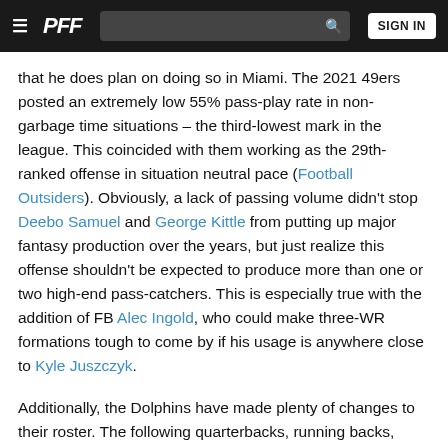PFF — Sign In
that he does plan on doing so in Miami. The 2021 49ers posted an extremely low 55% pass-play rate in non-garbage time situations – the third-lowest mark in the league. This coincided with them working as the 29th-ranked offense in situation neutral pace (Football Outsiders). Obviously, a lack of passing volume didn't stop Deebo Samuel and George Kittle from putting up major fantasy production over the years, but just realize this offense shouldn't be expected to produce more than one or two high-end pass-catchers. This is especially true with the addition of FB Alec Ingold, who could make three-WR formations tough to come by if his usage is anywhere close to Kyle Juszczyk.
Additionally, the Dolphins have made plenty of changes to their roster. The following quarterbacks, running backs, wide receivers and tight ends have either joined or